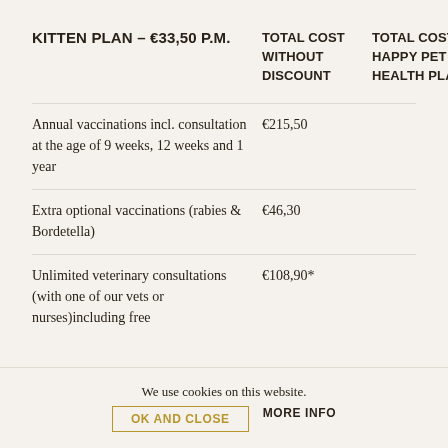| KITTEN PLAN – €33,50 P.M. | TOTAL COST WITHOUT DISCOUNT | TOTAL COST HAPPY PET HEALTH PLAN |
| --- | --- | --- |
| Annual vaccinations incl. consultation at the age of 9 weeks, 12 weeks and 1 year | €215,50 |  |
| Extra optional vaccinations (rabies & Bordetella) | €46,30 |  |
| Unlimited veterinary consultations (with one of our vets or nurses)including free | €108,90* |  |
We use cookies on this website.
OK AND CLOSE   MORE INFO